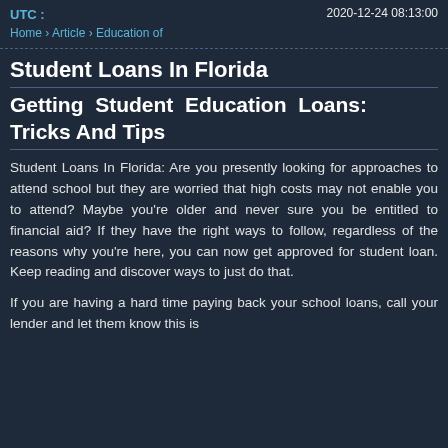UTC : 2020-12-24 08:13:00
Home › Article › Education of
Student Loans In Florida
Getting Student Education Loans: Tricks And Tips
Student Loans In Florida: Are you presently looking for approaches to attend school but they are worried that high costs may not enable you to attend? Maybe you're older and never sure you be entitled to financial aid? If they have the right ways to follow, regardless of the reasons why you're here, you can now get approved for student loan. Keep reading and discover ways to just do that.
If you are having a hard time paying back your school loans, call your lender and let them know this is